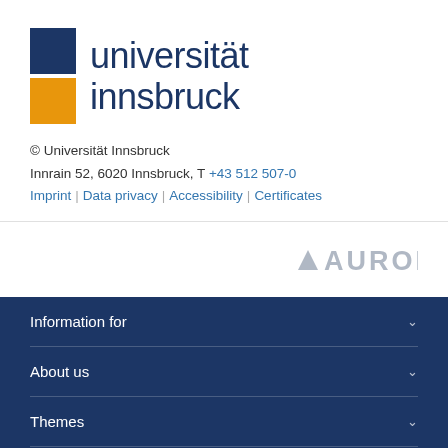[Figure (logo): Universität Innsbruck logo with dark blue and orange squares and text 'universität innsbruck']
© Universität Innsbruck
Innrain 52, 6020 Innsbruck, T +43 512 507-0
Imprint | Data privacy | Accessibility | Certificates
[Figure (logo): AURORA alliance logo in grey]
Information for
About us
Themes
Social Media